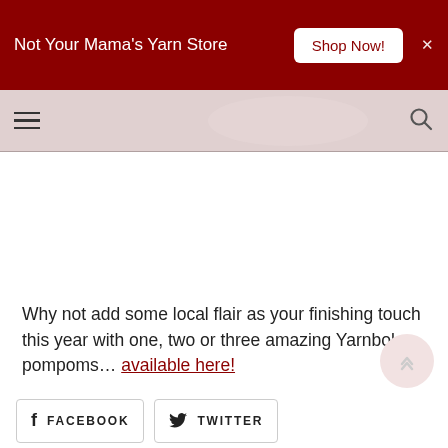Not Your Mama's Yarn Store  Shop Now!
[Figure (screenshot): Navigation bar with hamburger menu icon on left and search icon on right, over a faded pinkish hero image background]
Why not add some local flair as your finishing touch this year with one, two or three amazing Yarnboler pompoms… available here!
BUY NOW!
FACEBOOK  TWITTER